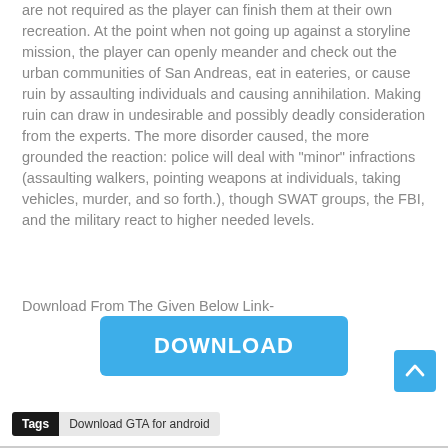are not required as the player can finish them at their own recreation. At the point when not going up against a storyline mission, the player can openly meander and check out the urban communities of San Andreas, eat in eateries, or cause ruin by assaulting individuals and causing annihilation. Making ruin can draw in undesirable and possibly deadly consideration from the experts. The more disorder caused, the more grounded the reaction: police will deal with "minor" infractions (assaulting walkers, pointing weapons at individuals, taking vehicles, murder, and so forth.), though SWAT groups, the FBI, and the military react to higher needed levels.
Download From The Given Below Link-
[Figure (other): Blue download button with white text reading DOWNLOAD]
[Figure (other): Blue scroll-to-top button with upward arrow icon in bottom-right corner]
Tags  Download GTA for android